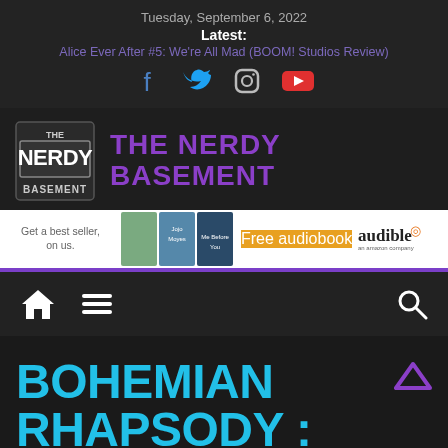Tuesday, September 6, 2022
Latest:
Alice Ever After #5: We're All Mad (BOOM! Studios Review)
[Figure (illustration): Social media icons: Facebook, Twitter, Instagram, YouTube]
[Figure (logo): The Nerdy Basement logo — stylized text logo in metallic boxy style]
THE NERDY BASEMENT
[Figure (illustration): Audible advertisement banner: Get a best seller on us. Shows book covers, Free audiobook button, Audible logo.]
[Figure (illustration): Navigation bar with home icon, hamburger menu icon, and search icon]
BOHEMIAN RHAPSODY : WHAT